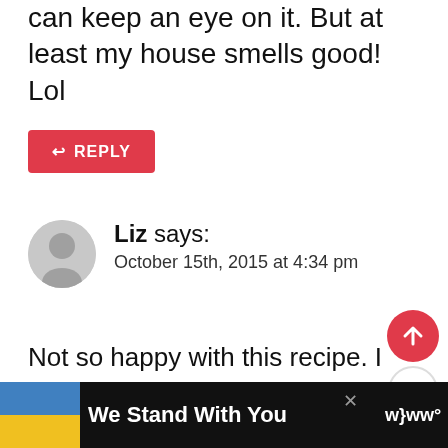can keep an eye on it. But at least my house smells good! Lol
REPLY
Liz says: October 15th, 2015 at 4:34 pm
Not so happy with this recipe. I shouldn't have trusted the long ooking time. Got up at 5:30 am after 10 hours on low and it was burnt tomy crockpot. :( make start this one in the early morning so you can keep an eye on it.
We Stand With You